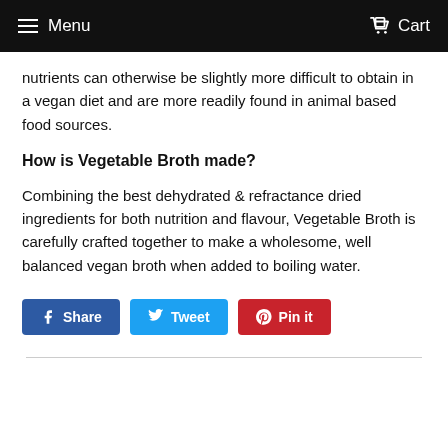Menu   Cart
nutrients can otherwise be slightly more difficult to obtain in a vegan diet and are more readily found in animal based food sources.
How is Vegetable Broth made?
Combining the best dehydrated & refractance dried ingredients for both nutrition and flavour, Vegetable Broth is carefully crafted together to make a wholesome, well balanced vegan broth when added to boiling water.
Share  Tweet  Pin it